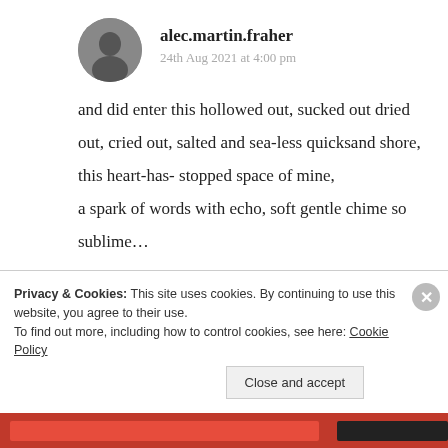alec.martin.fraher
24th Aug 2021 at 4:00 pm
and did enter this hollowed out, sucked out dried out, cried out, salted and sea-less quicksand shore, this heart-has- stopped space of mine, a spark of words with echo, soft gentle chime so sublime…

*you write beautifully Suma and thank you for
Privacy & Cookies: This site uses cookies. By continuing to use this website, you agree to their use.
To find out more, including how to control cookies, see here: Cookie Policy
Close and accept